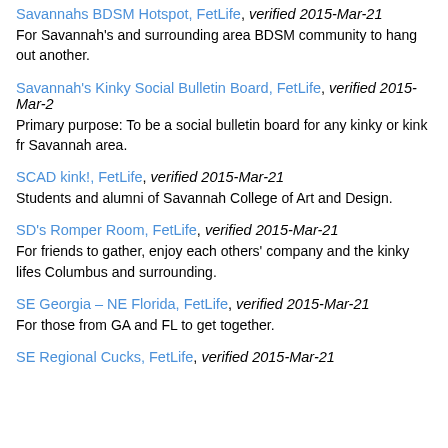Savannahs BDSM Hotspot, FetLife, verified 2015-Mar-21
For Savannah's and surrounding area BDSM community to hang out another.
Savannah's Kinky Social Bulletin Board, FetLife, verified 2015-Mar-21
Primary purpose: To be a social bulletin board for any kinky or kink fr Savannah area.
SCAD kink!, FetLife, verified 2015-Mar-21
Students and alumni of Savannah College of Art and Design.
SD's Romper Room, FetLife, verified 2015-Mar-21
For friends to gather, enjoy each others' company and the kinky lifes Columbus and surrounding.
SE Georgia – NE Florida, FetLife, verified 2015-Mar-21
For those from GA and FL to get together.
SE Regional Cucks, FetLife, verified 2015-Mar-21